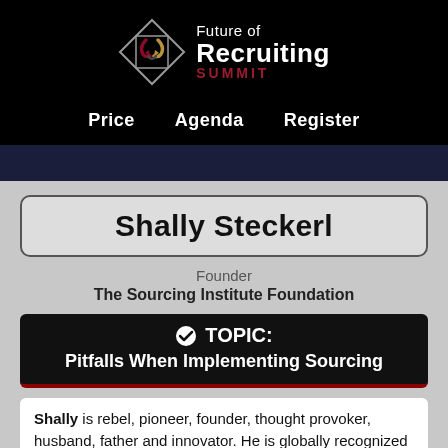[Figure (logo): Future of Recruiting Summit logo with geometric diamond shape icon and text]
Price   Agenda   Register
Shally Steckerl
Founder
The Sourcing Institute Foundation
TOPIC: Pitfalls When Implementing Sourcing
Shally is rebel, pioneer, founder, thought provoker, husband, father and innovator. He is globally recognized as the Godfather of Sourcing, widely